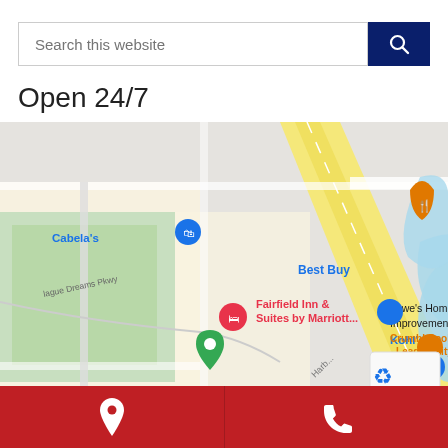[Figure (screenshot): Search bar with text 'Search this website' and a dark navy blue search button with magnifying glass icon]
Open 24/7
[Figure (map): Google Maps screenshot showing League City Texas area near Highway 45, with markers for Cabela's, Best Buy, Fairfield Inn & Suites by Marriott, Lowe's Home Improvement, Kohl's, Crumbl Cookies - League City, and a green location pin. Street labels include W Walker St and League Dreams Pkwy.]
[Figure (infographic): Red bottom navigation bar with two buttons: a white location pin icon on the left and a white phone handset icon on the right]